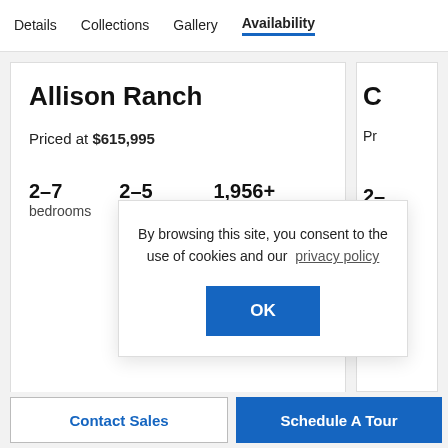Details  Collections  Gallery  Availability
Allison Ranch
Priced at $615,995
2–7 bedrooms   2–5 bathrooms   1,956+ square feet
By browsing this site, you consent to the use of cookies and our privacy policy
OK
Contact Sales   Schedule A Tour